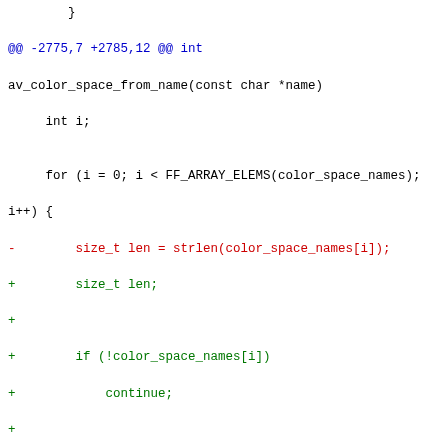Code diff showing changes to av_color_space_from_name and av_chroma_location_from_name functions